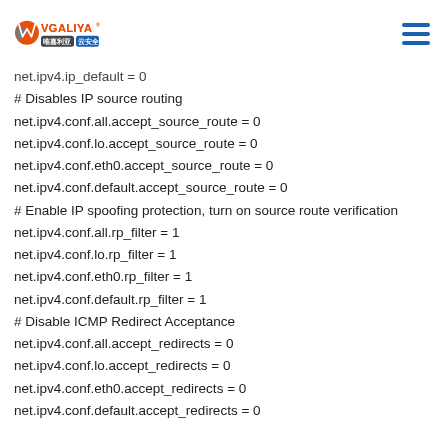VGALIYA 唯嘉利亚 云安全
net.ipv4.ip_default = 0
# Disables IP source routing
net.ipv4.conf.all.accept_source_route = 0
net.ipv4.conf.lo.accept_source_route = 0
net.ipv4.conf.eth0.accept_source_route = 0
net.ipv4.conf.default.accept_source_route = 0
# Enable IP spoofing protection, turn on source route verification
net.ipv4.conf.all.rp_filter = 1
net.ipv4.conf.lo.rp_filter = 1
net.ipv4.conf.eth0.rp_filter = 1
net.ipv4.conf.default.rp_filter = 1
# Disable ICMP Redirect Acceptance
net.ipv4.conf.all.accept_redirects = 0
net.ipv4.conf.lo.accept_redirects = 0
net.ipv4.conf.eth0.accept_redirects = 0
net.ipv4.conf.default.accept_redirects = 0